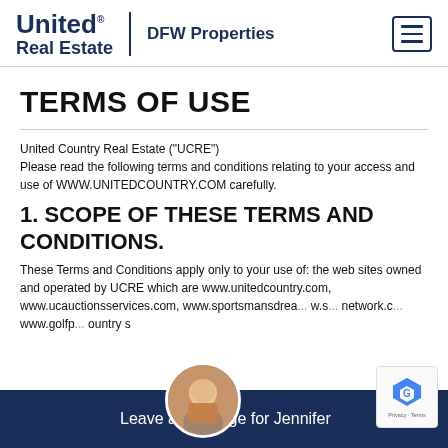United Real Estate | DFW Properties
TERMS OF USE
United Country Real Estate ("UCRE")
Please read the following terms and conditions relating to your access and use of WWW.UNITEDCOUNTRY.COM carefully.
1. SCOPE OF THESE TERMS AND CONDITIONS.
These Terms and Conditions apply only to your use of: the web sites owned and operated by UCRE which are www.unitedcountry.com, www.ucauctionsservices.com, www.sportsmansdrea... w.s... network.c... www.golfp... ountry s